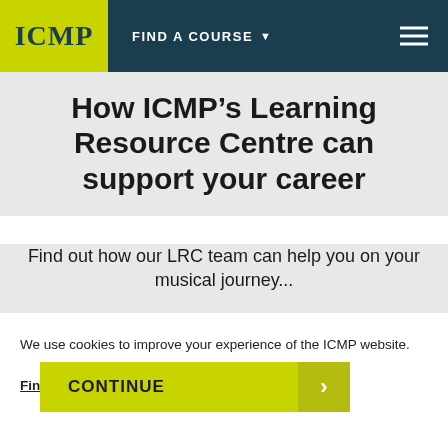ICMP | FIND A COURSE
How ICMP’s Learning Resource Centre can support your career
Find out how our LRC team can help you on your musical journey...
We use cookies to improve your experience of the ICMP website.
Find out more
CONTINUE